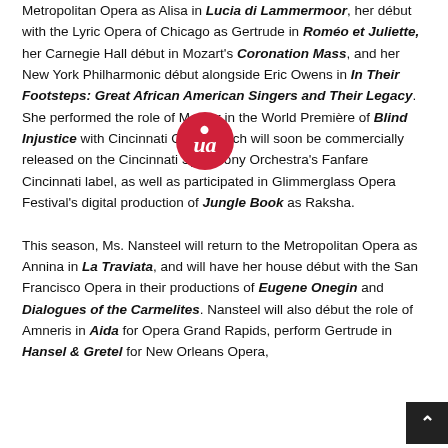Metropolitan Opera as Alisa in Lucia di Lammermoor, her début with the Lyric Opera of Chicago as Gertrude in Roméo et Juliette, her Carnegie Hall début in Mozart's Coronation Mass, and her New York Philharmonic début alongside Eric Owens in In Their Footsteps: Great African American Singers and Their Legacy. She performed the role of Mother in the World Première of Blind Injustice with Cincinnati Opera which will soon be commercially released on the Cincinnati Symphony Orchestra's Fanfare Cincinnati label, as well as participated in Glimmerglass Opera Festival's digital production of Jungle Book as Raksha.

This season, Ms. Nansteel will return to the Metropolitan Opera as Annina in La Traviata, and will have her house début with the San Francisco Opera in their productions of Eugene Onegin and Dialogues of the Carmelites. Nansteel will also début the role of Amneris in Aida for Opera Grand Rapids, perform Gertrude in Hansel & Gretel for New Orleans Opera,